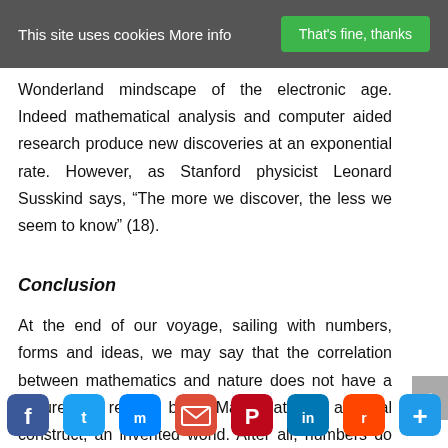This site uses cookies More info   That's fine, thanks
Wonderland mindscape of the electronic age. Indeed mathematical analysis and computer aided research produce new discoveries at an exponential rate. However, as Stanford physicist Leonard Susskind says, “The more we discover, the less we seem to know” (18).
Conclusion
At the end of our voyage, sailing with numbers, forms and ideas, we may say that the correlation between mathematics and nature does not have a secure and reliable base. Mathematics is a social construct; an invented world. After all, numbers do not grow on trees. But th... s... ivi... which seems to mirror the creative forces of the